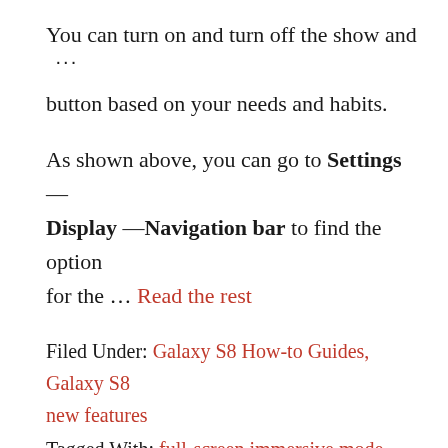You can turn on and turn off the show and ··· button based on your needs and habits.
As shown above, you can go to Settings — Display —Navigation bar to find the option for the ... Read the rest
Filed Under: Galaxy S8 How-to Guides, Galaxy S8 new features
Tagged With: full-screen immersive mode, Galaxy S8 Apps screen, Galaxy S8 home screen, Galaxy S8 navigation bar, navigation buttons, new features of Galaxy S8, navigation bar mode